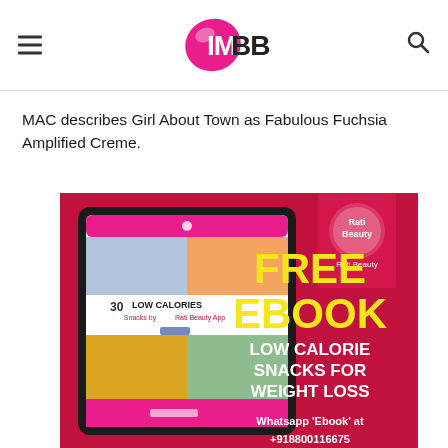IMBB
MAC describes Girl About Town as Fabulous Fuchsia Amplified Creme.
[Figure (infographic): Advertisement for Rati Beauty free ebook on Low Calorie Snacks for Weight Loss. Shows a tablet with food images and text '30 LOW CALORIES Snacks by Rati Beauty App'. Right side shows yellow and white text on deep pink/magenta background: FREE EBOOK, LOW CALORIE SNACKS FOR WEIGHT LOSS. Bottom text: Whatsapp 'Ebook' at +918800116675. Rati Beauty logo in top right.]